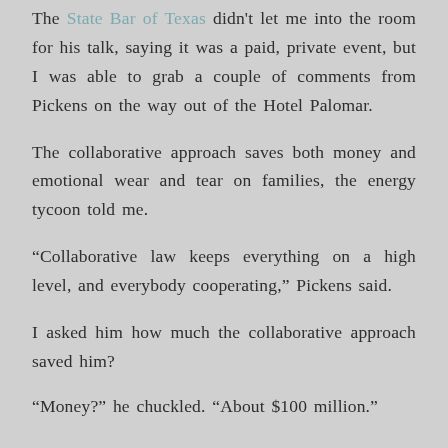The State Bar of Texas didn't let me into the room for his talk, saying it was a paid, private event, but I was able to grab a couple of comments from Pickens on the way out of the Hotel Palomar.
The collaborative approach saves both money and emotional wear and tear on families, the energy tycoon told me.
“Collaborative law keeps everything on a high level, and everybody cooperating,” Pickens said.
I asked him how much the collaborative approach saved him?
“Money?” he chuckled. “About $100 million.”